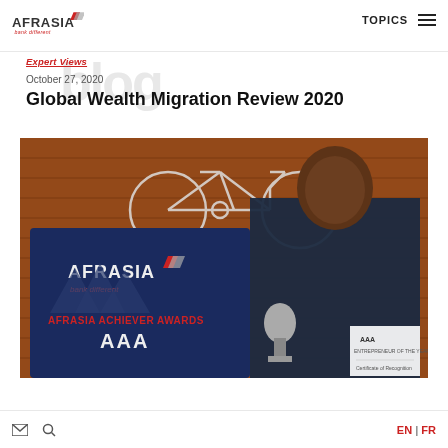AfrAsia bank different | TOPICS
Expert Views
October 27, 2020
Global Wealth Migration Review 2020
[Figure (photo): A man in a dark blue shirt holding a trophy and a certificate, standing in front of a brick wall with a decorative white bicycle. He is beside an AfrAsia Bank 'Achiever Awards AAA' display board showing the AfrAsia logo and the text 'AFRASIA ACHIEVER AWARDS AAA'.]
EN | FR